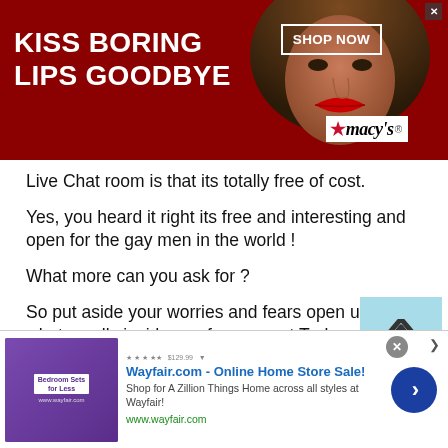[Figure (screenshot): Macy's advertisement banner with dark red background showing a woman's face with red lipstick, text 'KISS BORING LIPS GOODBYE', 'SHOP NOW' button, and Macy's star logo]
Live Chat room is that its totally free of cost.
Yes, you heard it right its free and interesting and open for the gay men in the world !
What more can you ask for ?
So put aside your worries and fears open up show whats really inside you for years at Turkmen Gay Live Chat with gay men around the world.
Everybody is welcome here because Turkmen Gay Live
[Figure (screenshot): Wayfair.com online advertisement banner showing bedroom furniture, title 'Wayfair.com - Online Home Store Sale!', subtitle 'Shop for A Zillion Things Home across all styles at Wayfair!', URL www.wayfair.com, with a blue circle arrow button]